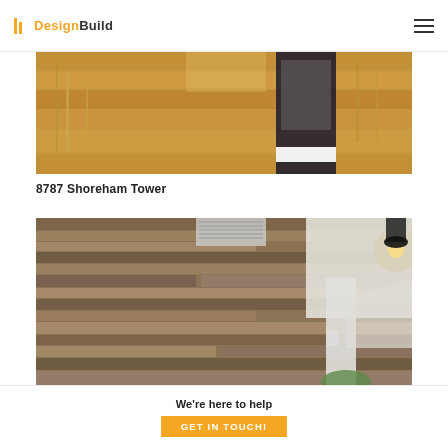DesignBuild
[Figure (photo): Interior room photo showing hardwood floor with chairs and a black-framed mirror or window]
8787 Shoreham Tower
[Figure (photo): Interior photo showing a reclaimed wood accent wall with pendant light and modern furnishings]
We're here to help
GET IN TOUCH!